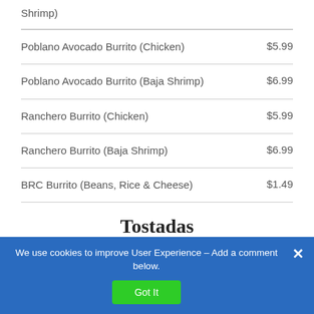Shrimp)
Poblano Avocado Burrito (Chicken)
Poblano Avocado Burrito (Baja Shrimp)
Ranchero Burrito (Chicken)
Ranchero Burrito (Baja Shrimp)
BRC Burrito (Beans, Rice & Cheese)
Tostadas
We use cookies to improve User Experience – Add a comment below.